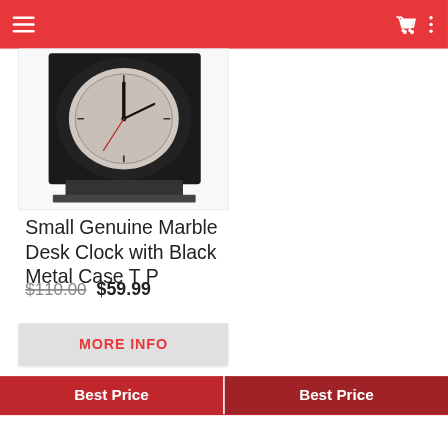Navigation bar with hamburger menu, cart icon, and more options
[Figure (photo): A small genuine marble desk clock with black metal case, showing clock face with roman or decorative numerals on a dark background]
Small Genuine Marble Desk Clock with Black Metal Case T P
$110.00  $59.99
MORE INFO
Best Price  Best Price